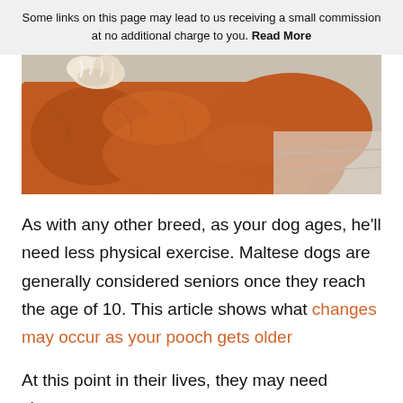Some links on this page may lead to us receiving a small commission at no additional charge to you. Read More
[Figure (photo): Close-up photo of a brown/orange dog lying on a light-colored floor, showing fur texture and tail area]
As with any other breed, as your dog ages, he'll need less physical exercise. Maltese dogs are generally considered seniors once they reach the age of 10. This article shows what changes may occur as your pooch gets older
At this point in their lives, they may need shorter